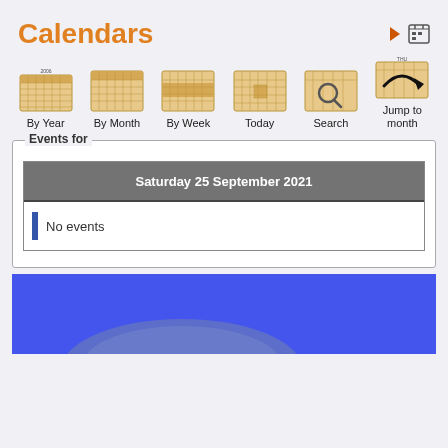Calendars
[Figure (screenshot): Calendar navigation icons: By Year, By Month, By Week, Today, Search, Jump to month]
Events for
| Saturday 25 September 2021 |
| --- |
| No events |
[Figure (photo): Blue background image with partial grey object visible at bottom]